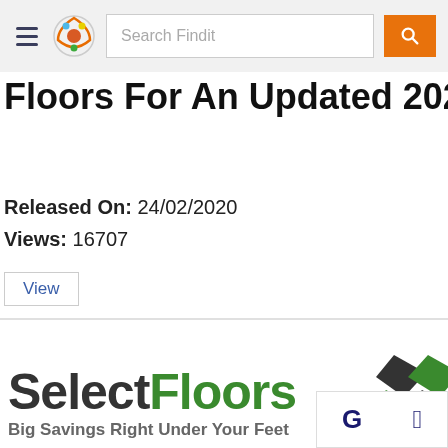Search Findit
Floors For An Updated 2020 Look
Released On: 24/02/2020
Views: 16707
View
[Figure (logo): SelectFloors logo with tagline: Big Savings Right Under Your Feet, and diamond graphic]